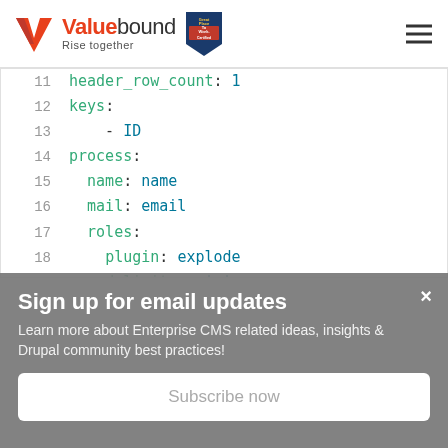[Figure (logo): Valuebound logo with orange V icon and tagline 'Rise together', plus Great Place To Work Certified badge]
[Figure (screenshot): Code block showing YAML configuration lines 11-20: header_row_count: 1, keys:, - ID, process:, name: name, mail: email, roles:, plugin: explode, delimiter: ',', source: roles]
Sign up for email updates
Learn more about Enterprise CMS related ideas, insights & Drupal community best practices!
Subscribe now